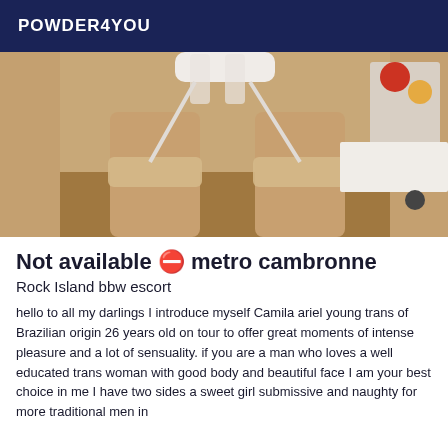POWDER4YOU
[Figure (photo): Photo of person's legs wearing stockings and white lingerie, with background showing room items including red ball]
Not available ⛔ metro cambronne
Rock Island bbw escort
hello to all my darlings I introduce myself Camila ariel young trans of Brazilian origin 26 years old on tour to offer great moments of intense pleasure and a lot of sensuality. if you are a man who loves a well educated trans woman with good body and beautiful face I am your best choice in me I have two sides a sweet girl submissive and naughty for more traditional men in